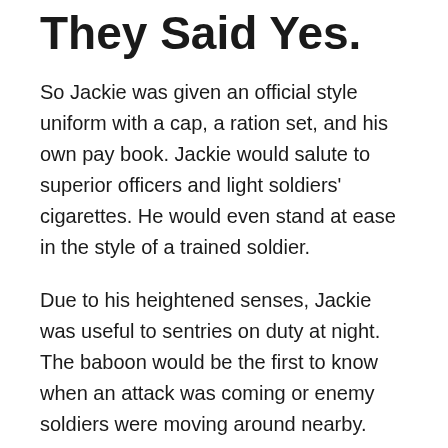They Said Yes.
So Jackie was given an official style uniform with a cap, a ration set, and his own pay book. Jackie would salute to superior officers and light soldiers' cigarettes. He would even stand at ease in the style of a trained soldier.
Due to his heightened senses, Jackie was useful to sentries on duty at night. The baboon would be the first to know when an attack was coming or enemy soldiers were moving around nearby.
Jackie and Marr survived a battle where the casualty rate was 80%, in Delville Wood, early in the Somme Campaign.
When Marr was serving in Egypt he was shot in the shoulder at the Battle of Agagia, 26 February 1916, while